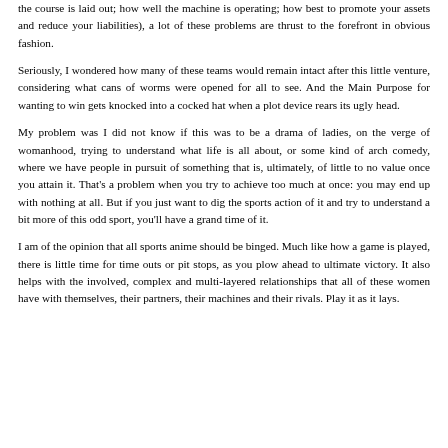the course is laid out; how well the machine is operating; how best to promote your assets and reduce your liabilities), a lot of these problems are thrust to the forefront in obvious fashion.
Seriously, I wondered how many of these teams would remain intact after this little venture, considering what cans of worms were opened for all to see. And the Main Purpose for wanting to win gets knocked into a cocked hat when a plot device rears its ugly head.
My problem was I did not know if this was to be a drama of ladies, on the verge of womanhood, trying to understand what life is all about, or some kind of arch comedy, where we have people in pursuit of something that is, ultimately, of little to no value once you attain it. That's a problem when you try to achieve too much at once: you may end up with nothing at all. But if you just want to dig the sports action of it and try to understand a bit more of this odd sport, you'll have a grand time of it.
I am of the opinion that all sports anime should be binged. Much like how a game is played, there is little time for time outs or pit stops, as you plow ahead to ultimate victory. It also helps with the involved, complex and multi-layered relationships that all of these women have with themselves, their partners, their machines and their rivals. Play it as it lays.